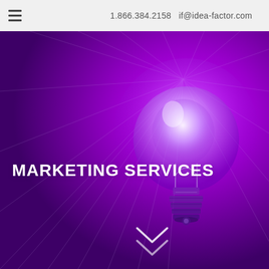1.866.384.2158  if@idea-factor.com
[Figure (illustration): Purple glowing light bulb on a deep purple background with radiating light rays, overlaid with the text MARKETING SERVICES and a downward chevron arrow at the bottom.]
MARKETING SERVICES